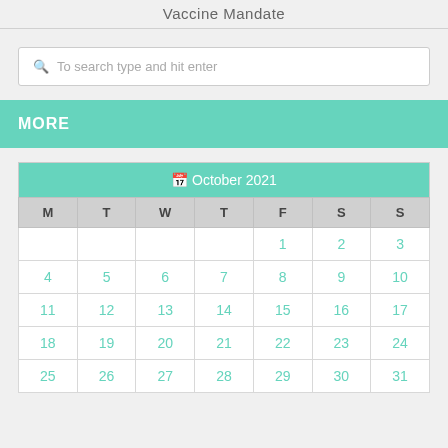Vaccine Mandate
To search type and hit enter
MORE
| M | T | W | T | F | S | S |
| --- | --- | --- | --- | --- | --- | --- |
|  |  |  |  | 1 | 2 | 3 |
| 4 | 5 | 6 | 7 | 8 | 9 | 10 |
| 11 | 12 | 13 | 14 | 15 | 16 | 17 |
| 18 | 19 | 20 | 21 | 22 | 23 | 24 |
| 25 | 26 | 27 | 28 | 29 | 30 | 31 |